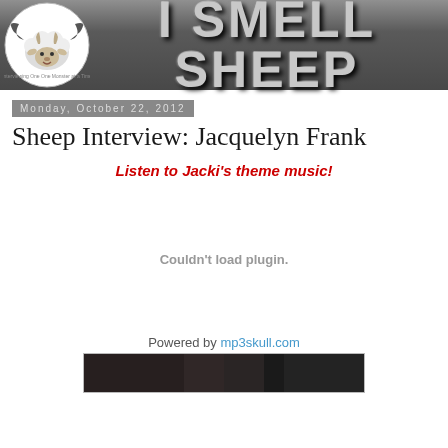[Figure (logo): I Smell Sheep blog header banner with sheep mascot logo on left and large bold text 'I SMELL SHEEP' on right, gray gradient background]
Monday, October 22, 2012
Sheep Interview: Jacquelyn Frank
Listen to Jacki's theme music!
[Figure (other): Embedded audio plugin area showing 'Couldn't load plugin.' message]
Powered by mp3skull.com
[Figure (photo): Bottom partial image strip showing dark photo content]